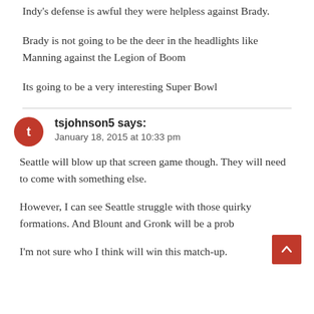Indy's defense is awful they were helpless against Brady.
Brady is not going to be the deer in the headlights like Manning against the Legion of Boom
Its going to be a very interesting Super Bowl
tsjohnson5 says: January 18, 2015 at 10:33 pm
Seattle will blow up that screen game though. They will need to come with something else.
However, I can see Seattle struggle with those quirky formations. And Blount and Gronk will be a prob
I'm not sure who I think will win this match-up.